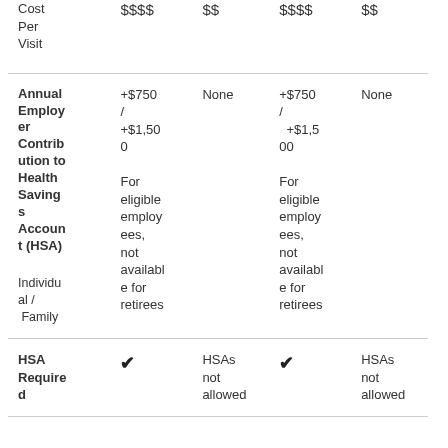|  | Col1 | Col2 | Col3 | Col4 |
| --- | --- | --- | --- | --- |
| Cost Per Visit | $$$$ | $$ | $$$$ | $$ |
| Annual Employer Contribution to Health Savings Account (HSA)
Individual / Family | +$750 / +$1,500
For eligible employees, not available for retirees | None | +$750 / +$1,500
For eligible employees, not available for retirees | None |
| HSA Required | ✔ | HSAs not allowed | ✔ | HSAs not allowed |